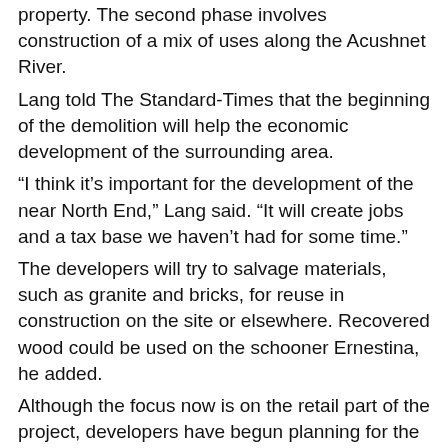property. The second phase involves construction of a mix of uses along the Acushnet River.
Lang told The Standard-Times that the beginning of the demolition will help the economic development of the surrounding area.
“I think it’s important for the development of the near North End,” Lang said. “It will create jobs and a tax base we haven’t had for some time.”
The developers will try to salvage materials, such as granite and bricks, for reuse in construction on the site or elsewhere. Recovered wood could be used on the schooner Ernestina, he added.
Although the focus now is on the retail part of the project, developers have begun planning for the second phase, he said.
Also, the city has secured $2.7 million in state funding for reconstruction of the Interstate 195 ramps and local streets surrounding the Fairhaven Mills site. The city will